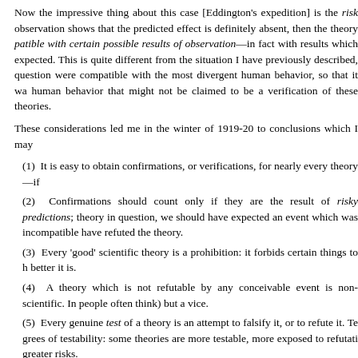Now the impressive thing about this case [Eddington's expedition] is the risk observation shows that the predicted effect is definitely absent, then the theory patible with certain possible results of observation—in fact with results which expected. This is quite different from the situation I have previously described, question were compatible with the most divergent human behavior, so that it wa human behavior that might not be claimed to be a verification of these theories.
These considerations led me in the winter of 1919-20 to conclusions which I may
(1)  It is easy to obtain confirmations, or verifications, for nearly every theory—if
(2)  Confirmations should count only if they are the result of risky predictions; theory in question, we should have expected an event which was incompatible have refuted the theory.
(3)  Every 'good' scientific theory is a prohibition: it forbids certain things to h better it is.
(4)  A theory which is not refutable by any conceivable event is non-scientific. In people often think) but a vice.
(5)  Every genuine test of a theory is an attempt to falsify it, or to refute it. Te grees of testability: some theories are more testable, more exposed to refutati greater risks.
(6)  Confirming evidence should not count except when it is the result of a gen that it can be presented as a serious but unsuccessful attempt to falsify the 'corroborating evidence'.)
(7)  Some genuinely testable theories, when found to be false, are still upheld troducing ad hoc some auxiliary assumption, or by reinterpreting the theory